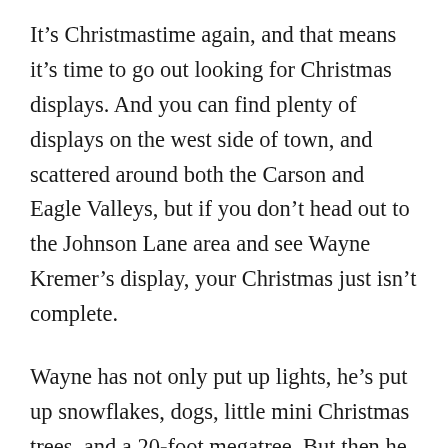It's Christmastime again, and that means it's time to go out looking for Christmas displays. And you can find plenty of displays on the west side of town, and scattered around both the Carson and Eagle Valleys, but if you don't head out to the Johnson Lane area and see Wayne Kremer's display, your Christmas just isn't complete.
Wayne has not only put up lights, he's put up snowflakes, dogs, little mini Christmas trees, and a 20-foot megatree. But then he took the next step and programmed the whole display so it's choreographed to music, which he pumps out over his own radio transmitter. The whole system